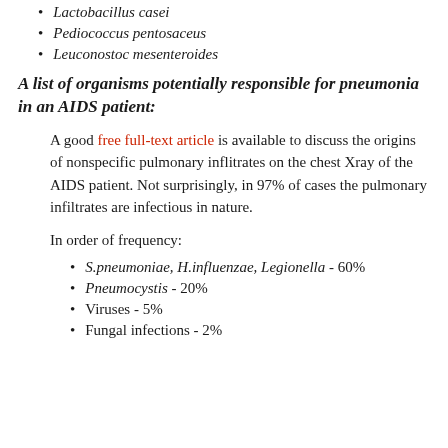Lactobacillus casei
Pediococcus pentosaceus
Leuconostoc mesenteroides
A list of organisms potentially responsible for pneumonia in an AIDS patient:
A good free full-text article is available to discuss the origins of nonspecific pulmonary inflitrates on the chest Xray of the AIDS patient. Not surprisingly, in 97% of cases the pulmonary infiltrates are infectious in nature.
In order of frequency:
S.pneumoniae, H.influenzae, Legionella - 60%
Pneumocystis - 20%
Viruses - 5%
Fungal infections - 2%